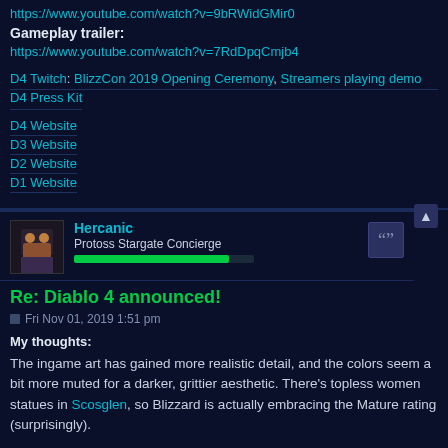https://www.youtube.com/watch?v=9bRWidGMir0
Gameplay trailer:
https://www.youtube.com/watch?v=7RdDpqCmjb4
D4 Twitch: BlizzCon 2019 Opening Ceremony, Streamers playing demo
D4 Press Kit
D4 Website
D3 Website
D2 Website
D1 Website
Hercanic
Protoss Stargate Concierge
Re: Diablo 4 announced!
Fri Nov 01, 2019 1:51 pm
My thoughts:
The ingame art has gained more realistic detail, and the colors seem a bit more muted for a darker, grittier aesthetic. There's topless women statues in Scosglen, so Blizzard is actually embracing the Mature rating (surprisingly).